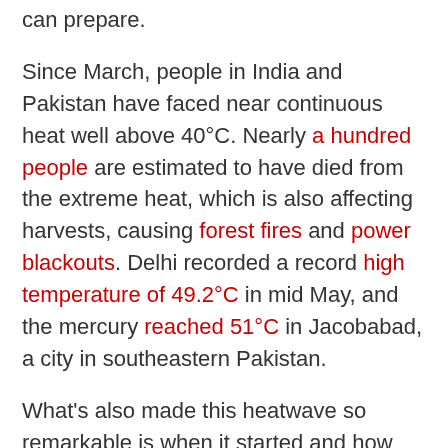can prepare.
Since March, people in India and Pakistan have faced near continuous heat well above 40°C. Nearly a hundred people are estimated to have died from the extreme heat, which is also affecting harvests, causing forest fires and power blackouts. Delhi recorded a record high temperature of 49.2°C in mid May, and the mercury reached 51°C in Jacobabad, a city in southeastern Pakistan.
What's also made this heatwave so remarkable is when it started and how long it's lasted. Heatwaves in May are